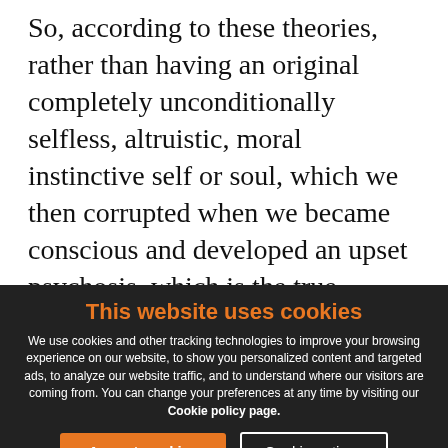So, according to these theories, rather than having an original completely unconditionally selfless, altruistic, moral instinctive self or soul, which we then corrupted when we became conscious and developed an upset psychosis, which is the true description of the origin of our condition, we simply have some instincts that want us to behave selflessly and some that don't, or we don't have any instincts at all, and
This website uses cookies
We use cookies and other tracking technologies to improve your browsing experience on our website, to show you personalized content and targeted ads, to analyze our website traffic, and to understand where our visitors are coming from. You can change your preferences at any time by visiting our Cookie policy page.